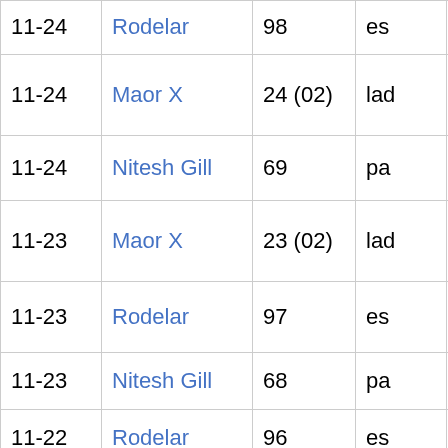| 11-24 | Rodelar | 98 | es | Jaime Mig…
Istúriz |
| 11-24 | Maor X | 24 (02) | lad | Safa Al Ha… |
| 11-24 | Nitesh Gill | 69 | pa | □□□□ □□□□ |
| 11-23 | Maor X | 23 (02) | lad | Mariam A… |
| 11-23 | Rodelar | 97 | es | Ramón A…
Bernadet… |
| 11-23 | Nitesh Gill | 68 | pa | □□□□□ □□□□□ |
| 11-22 | Rodelar | 96 | es | Eduardo M… |
|  |  |  |  |  |